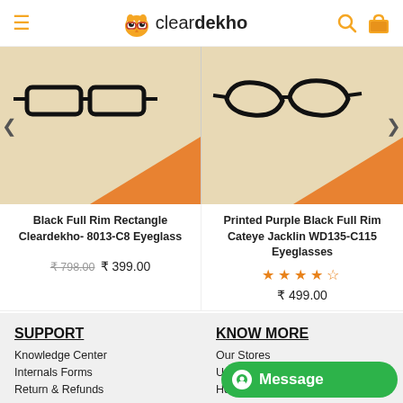cleardekho
[Figure (photo): Black full rim rectangle eyeglasses on beige background with orange triangle accent]
[Figure (photo): Printed purple black full rim cateye eyeglasses on beige background with orange triangle accent]
Black Full Rim Rectangle Cleardekho- 8013-C8 Eyeglass
Printed Purple Black Full Rim Cateye Jacklin WD135-C115 Eyeglasses
₹ 798.00   ₹ 399.00
★★★★☆   ₹ 499.00
SUPPORT
KNOW MORE
Knowledge Center
Our Stores
Internals Forms
Uplo…
Return & Refunds
Home Eye Test